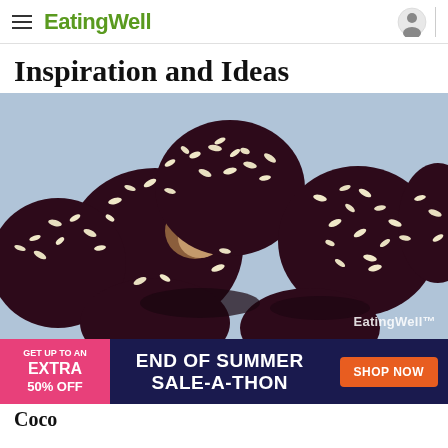EatingWell
Inspiration and Ideas
[Figure (photo): Close-up photo of chocolate-coated energy balls/truffles covered in puffed rice or rice crisps, with one bitten open to reveal a light brown interior. EatingWell watermark in bottom right corner.]
[Figure (infographic): Advertisement banner: pink section on left reads 'GET UP TO AN EXTRA 50% OFF', dark navy center reads 'END OF SUMMER SALE-A-THON', orange button on right reads 'SHOP NOW']
Coco